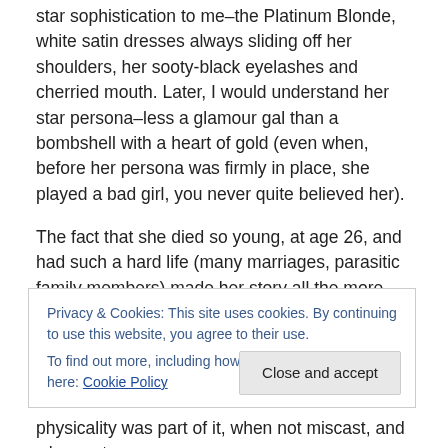star sophistication to me–the Platinum Blonde, white satin dresses always sliding off her shoulders, her sooty-black eyelashes and cherried mouth. Later, I would understand her star persona–less a glamour gal than a bombshell with a heart of gold (even when, before her persona was firmly in place, she played a bad girl, you never quite believed her).
The fact that she died so young, at age 26, and had such a hard life (many marriages, parasitic family members) made her story all the more compelling. I'm not sure what it was that so entranced me–my appreciation of her now
Privacy & Cookies: This site uses cookies. By continuing to use this website, you agree to their use.
To find out more, including how to control cookies, see here: Cookie Policy
physicality was part of it, when not miscast, and when not